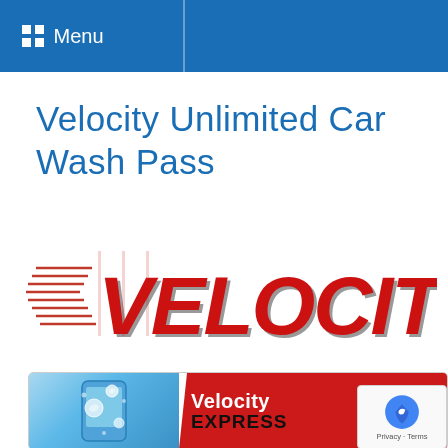Menu
Velocity Unlimited Car Wash Pass
[Figure (logo): VELOCITY logo in bold red italic letters with horizontal speed lines on the left side and a chrome/silver shadow effect]
[Figure (photo): Velocity Express car wash pass card image showing a blue phone with water droplets, red background with white text reading Velocity Express]